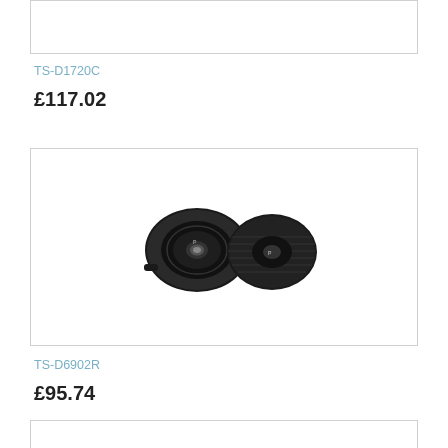[Figure (photo): Empty product image box at top (partial, cut off)]
TS-D1720C
£117.02
[Figure (photo): Two Pioneer car speakers (TS-D6902R) shown side by side — front and back view — on white background inside a bordered box]
TS-D6902R
£95.74
[Figure (photo): Empty product image box at bottom (partial, cut off)]